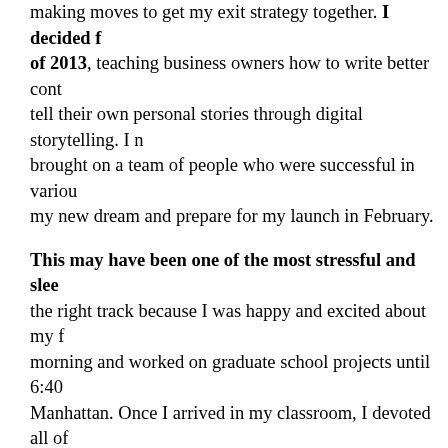making moves to get my exit strategy together. I decided f of 2013, teaching business owners how to write better cont tell their own personal stories through digital storytelling. I brought on a team of people who were successful in variou my new dream and prepare for my launch in February.
This may have been one of the most stressful and slee the right track because I was happy and excited about my f morning and worked on graduate school projects until 6:40 Manhattan. Once I arrived in my classroom, I devoted all of When the final bell rang at 3:20, I packed my bags, walked quick forty-minute nap, and headed to my evening college c night, exhausted by a full day of work and graduate-level s
When February of 2013 came around, The Writing Whispe despite my hectic, sleep-deprived schedule, graduated with program! Deep within my soul, even before I had my firs successful business owner, which would allow me to chart anyone else, ever again, that I was "good enough." These a and fear crept into my brain.